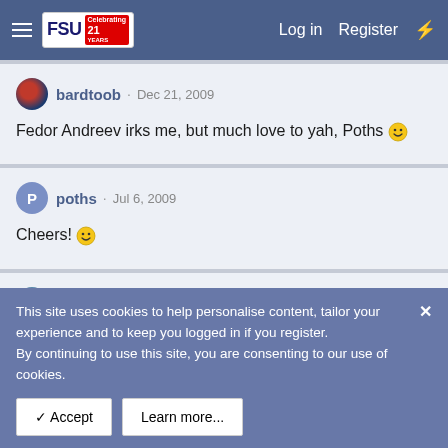FSU forum header with Log in, Register navigation
bardtoob · Dec 21, 2009
Fedor Andreev irks me, but much love to yah, Poths 🙂
poths · Jul 6, 2009
Cheers! 🙂
skatefan · Jul 5, 2009
This site uses cookies to help personalise content, tailor your experience and to keep you logged in if you register.
By continuing to use this site, you are consenting to our use of cookies.